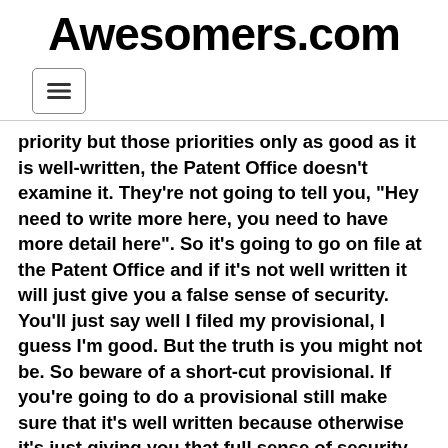Awesomers.com
priority but those priorities only as good as it is well-written, the Patent Office doesn't examine it. They're not going to tell you, “Hey need to write more here, you need to have more detail here”. So it’s going to go on file at the Patent Office and if it’s not well written it will just give you a false sense of security. You'll just say well I filed my provisional, I guess I'm good. But the truth is you might not be. So beware of a short-cut provisional. If you're going to do a provisional still make sure that it's well written because otherwise it's just giving you that full sense of security. So there’s that other thing important to mention is the importance of filing your application before you publicly disclose your invention, before you start selling it. If you start selling it before you file a patent application you will